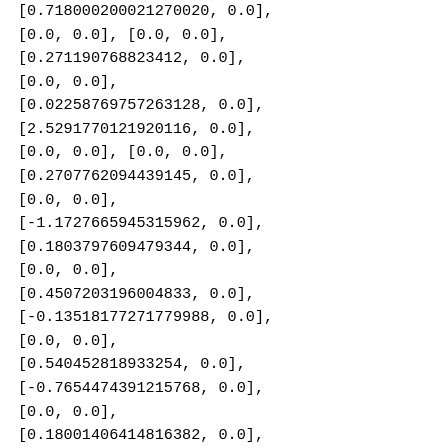[0.718000200021270020, 0.0], [0.0, 0.0], [0.0, 0.0], [0.271190768823412, 0.0], [0.0, 0.0], [0.02258769757263128, 0.0], [2.5291770121920116, 0.0], [0.0, 0.0], [0.0, 0.0], [0.2707762094439145, 0.0], [0.0, 0.0], [-1.1727665945315962, 0.0], [0.1803797609479344, 0.0], [0.0, 0.0], [0.4507203196004833, 0.0], [-0.13518177271779988, 0.0], [0.0, 0.0], [0.540452818933254, 0.0], [-0.7654474391215768, 0.0], [0.0, 0.0], [0.18001406414816382, 0.0], [0.0, 0.0], [0.0, 0.0], [0.17087750016531515, 0.0]